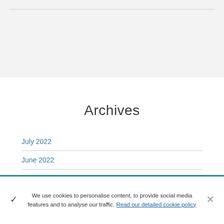Archives
July 2022
June 2022
May 2022
We use cookies to personalise content, to provide social media features and to analyse our traffic. Read our detailed cookie policy